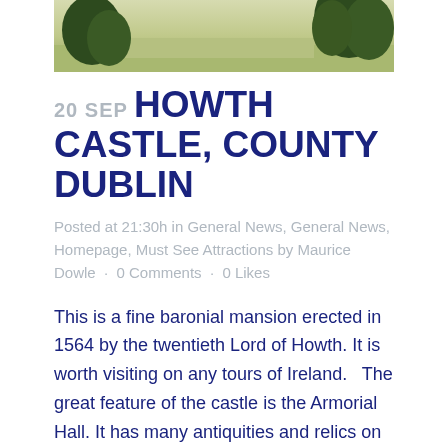[Figure (photo): Aerial or landscape photo of green fields and trees, likely the grounds of Howth Castle, County Dublin]
20 SEP HOWTH CASTLE, COUNTY DUBLIN
Posted at 21:30h in General News, General News, Homepage, Must See Attractions by Maurice Dowle · 0 Comments · 0 Likes
This is a fine baronial mansion erected in 1564 by the twentieth Lord of Howth. It is worth visiting on any tours of Ireland.   The great feature of the castle is the Armorial Hall. It has many antiquities and relics on display. There are many fine paintings also... It is